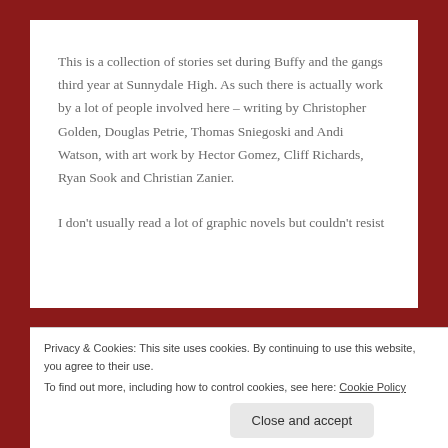This is a collection of stories set during Buffy and the gangs third year at Sunnydale High. As such there is actually work by a lot of people involved here – writing by Christopher Golden, Douglas Petrie, Thomas Sniegoski and Andi Watson, with art work by Hector Gomez, Cliff Richards, Ryan Sook and Christian Zanier.
I don't usually read a lot of graphic novels but couldn't resist
Privacy & Cookies: This site uses cookies. By continuing to use this website, you agree to their use.
To find out more, including how to control cookies, see here: Cookie Policy
Close and accept